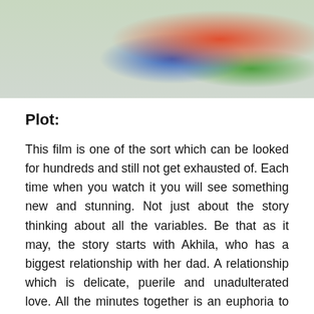[Figure (photo): A colorful action scene photo showing people in athletic/sports setting with bright colors (red, blue, green) against a light background.]
Plot:
This film is one of the sort which can be looked for hundreds and still not get exhausted of. Each time when you watch it you will see something new and stunning. Not just about the story thinking about all the variables. Be that as it may, the story starts with Akhila, who has a biggest relationship with her dad. A relationship which is delicate, puerile and unadulterated love. All the minutes together is an euphoria to watch. Shockingly any story has a curve right, even they additionally have a distinction in options. She picked a person without her father's authorization in school which was totally an off-base one. That person undermines Akhila and she laments that for the existence of time. She needs to fail to remember that and center around the objective of turning out to be IAS, which was